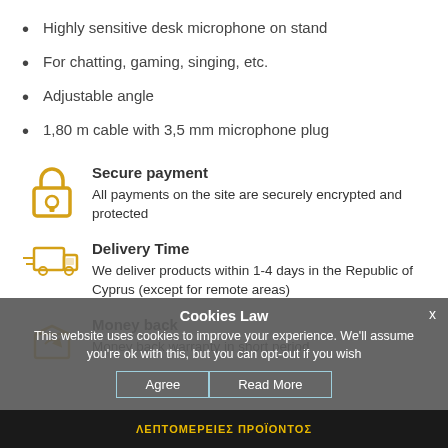Highly sensitive desk microphone on stand
For chatting, gaming, singing, etc.
Adjustable angle
1,80 m cable with 3,5 mm microphone plug
[Figure (infographic): Lock icon (secure payment), yellow/gold color]
Secure payment
All payments on the site are securely encrypted and protected
[Figure (infographic): Delivery truck icon, yellow/gold color]
Delivery Time
We deliver products within 1-4 days in the Republic of Cyprus (except for remote areas)
[Figure (infographic): Money back box icon, yellow/gold color]
Money back
Money back warranty in short period
Cookies Law
This website uses cookies to improve your experience. We'll assume you're ok with this, but you can opt-out if you wish
ΛΕΠΤΟΜΕΡΕΙΕΣ ΠΡΟΪΟΝΤΟΣ